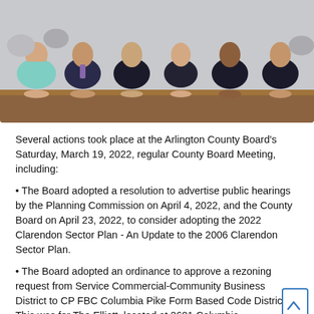[Figure (photo): Group photo of Arlington County Board members seated around a wooden table, wearing formal business attire.]
Several actions took place at the Arlington County Board's Saturday, March 19, 2022, regular County Board Meeting, including:
• The Board adopted a resolution to advertise public hearings by the Planning Commission on April 4, 2022, and the County Board on April 23, 2022, to consider adopting the 2022 Clarendon Sector Plan - An Update to the 2006 Clarendon Sector Plan.
• The Board adopted an ordinance to approve a rezoning request from Service Commercial-Community Business District to CP FBC Columbia Pike Form Based Code District. This was for The Elliott, located at 2601 Columbia